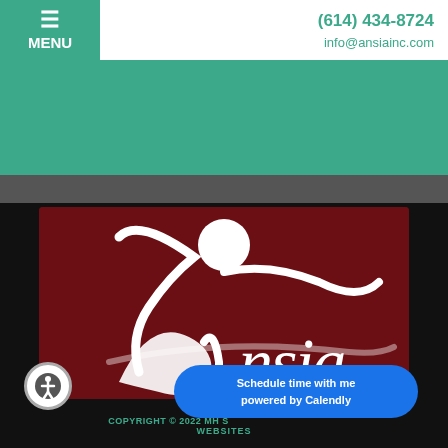≡ MENU    (614) 434-8724    info@ansiainc.com
[Figure (logo): ANSIA Inc. logo — white stylized figure with circle head and sweeping calligraphic arms forming the letter 'a', with 'nsia' text, on dark red/maroon background]
COPYRIGHT © 2022 MH SUBTHEME • WEBSITES